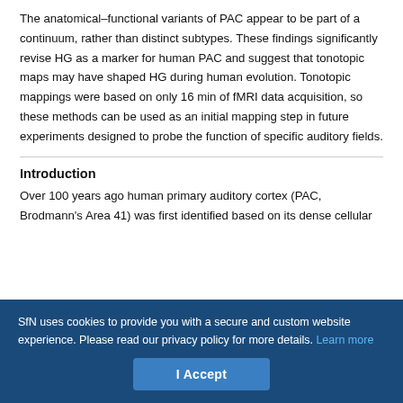The anatomical–functional variants of PAC appear to be part of a continuum, rather than distinct subtypes. These findings significantly revise HG as a marker for human PAC and suggest that tonotopic maps may have shaped HG during human evolution. Tonotopic mappings were based on only 16 min of fMRI data acquisition, so these methods can be used as an initial mapping step in future experiments designed to probe the function of specific auditory fields.
Introduction
Over 100 years ago human primary auditory cortex (PAC, Brodmann's Area 41) was first identified based on its dense cellular
SfN uses cookies to provide you with a secure and custom website experience. Please read our privacy policy for more details. Learn more